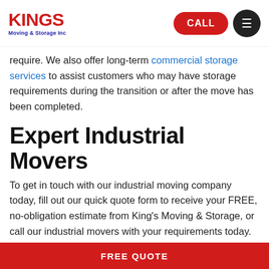KINGS Moving & Storage Inc — CALL — Menu
require. We also offer long-term commercial storage services to assist customers who may have storage requirements during the transition or after the move has been completed.
Expert Industrial Movers
To get in touch with our industrial moving company today, fill out our quick quote form to receive your FREE, no-obligation estimate from King's Moving & Storage, or call our industrial movers with your requirements today. Our industrial moving company has decades of experience performing industrial moving services of all types, and we look forward to meeting your company's requirements.
Explore Options
FREE QUOTE